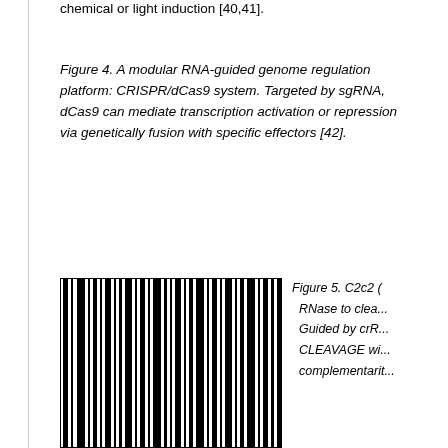chemical or light induction [40,41].
Figure 4. A modular RNA-guided genome regulation platform: CRISPR/dCas9 system. Targeted by sgRNA, dCas9 can mediate transcription activation or repression via genetically fusion with specific effectors [42].
[Figure (other): Barcode-like vertical bars image (Figure 5 illustration), showing multiple vertical black bars of varying widths on white background.]
Figure 5. C2c2 (... RNase to clea... Guided by crR... CLEAVAGE wi... complementarit...